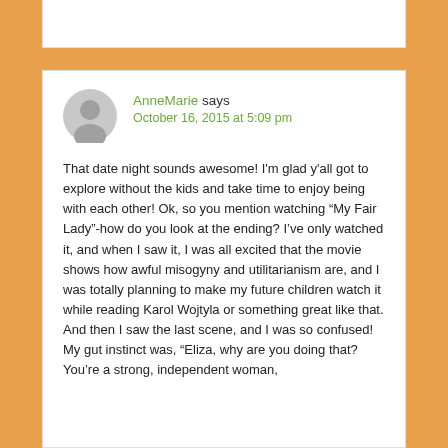AnneMarie says
October 16, 2015 at 5:09 pm
That date night sounds awesome! I'm glad y'all got to explore without the kids and take time to enjoy being with each other! Ok, so you mention watching “My Fair Lady”-how do you look at the ending? I’ve only watched it, and when I saw it, I was all excited that the movie shows how awful misogyny and utilitarianism are, and I was totally planning to make my future children watch it while reading Karol Wojtyla or something great like that. And then I saw the last scene, and I was so confused! My gut instinct was, “Eliza, why are you doing that? You’re a strong, independent woman,